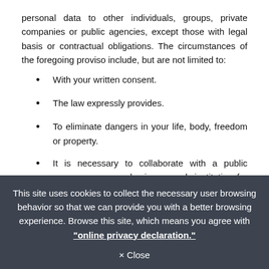personal data to other individuals, groups, private companies or public agencies, except those with legal basis or contractual obligations. The circumstances of the foregoing proviso include, but are not limited to:
With your written consent.
The law expressly provides.
To eliminate dangers in your life, body, freedom or property.
It is necessary to collaborate with a public agency or an academic research institution for statistical or academic research based on public interest, and the way the data is processed or exposed does not identify a particular party.
This site uses cookies to collect the necessary user browsing behavior so that we can provide you with a better browsing experience. Browse this site, which means you agree with "online privacy declaration."
× Close